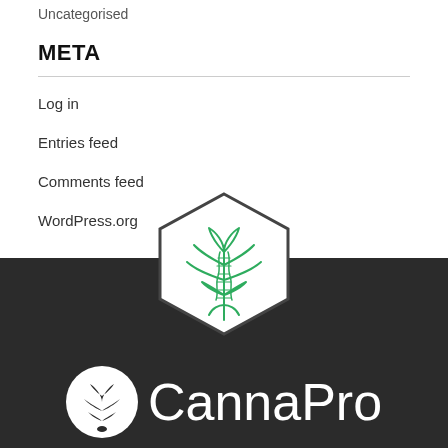Uncategorised
META
Log in
Entries feed
Comments feed
WordPress.org
[Figure (logo): CannaPro hexagon logo with cannabis leaf and DNA strand inside a hexagon outline, in green]
[Figure (logo): CannaPro brand logo with white circle containing a cannabis leaf and the text CannaPro in white on dark background]